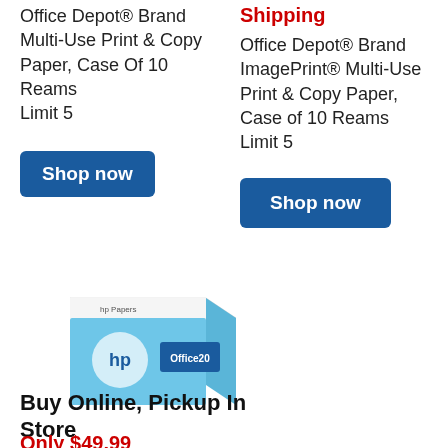Office Depot® Brand Multi-Use Print & Copy Paper, Case Of 10 Reams
Limit 5
Shop now
Shipping
Office Depot® Brand ImagePrint® Multi-Use Print & Copy Paper, Case of 10 Reams
Limit 5
Shop now
[Figure (photo): HP Papers box — light blue cardboard case of office paper]
Buy Online, Pickup In Store
Only $49.99
HP Office Multi-Use...